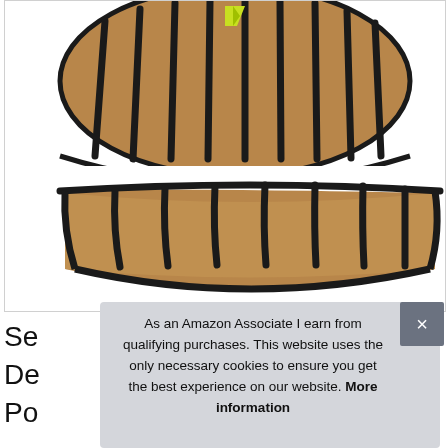[Figure (photo): Two half-round wall planter baskets with black metal frame and coir/coconut fiber liner. The top basket shows the top view with a yellow/green logo tag, and the bottom shows a side profile view of the trough-style planter on a white background.]
Se
De
Po
As an Amazon Associate I earn from qualifying purchases. This website uses the only necessary cookies to ensure you get the best experience on our website. More information